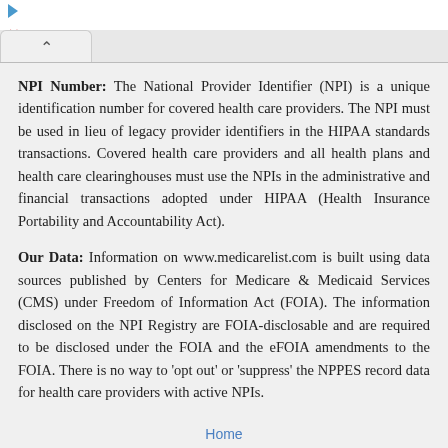NPI Number: The National Provider Identifier (NPI) is a unique identification number for covered health care providers. The NPI must be used in lieu of legacy provider identifiers in the HIPAA standards transactions. Covered health care providers and all health plans and health care clearinghouses must use the NPIs in the administrative and financial transactions adopted under HIPAA (Health Insurance Portability and Accountability Act).
Our Data: Information on www.medicarelist.com is built using data sources published by Centers for Medicare & Medicaid Services (CMS) under Freedom of Information Act (FOIA). The information disclosed on the NPI Registry are FOIA-disclosable and are required to be disclosed under the FOIA and the eFOIA amendments to the FOIA. There is no way to 'opt out' or 'suppress' the NPPES record data for health care providers with active NPIs.
Home